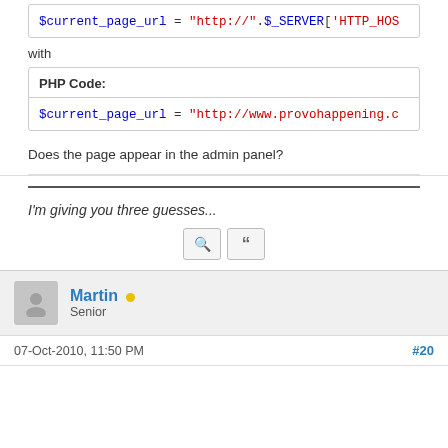$current_page_url = "http://".$_SERVER['HTTP_HOS
with
PHP Code:
$current_page_url = "http://www.provohappening.c
Does the page appear in the admin panel?
I'm giving you three guesses...
Martin
Senior
07-Oct-2010, 11:50 PM
#20